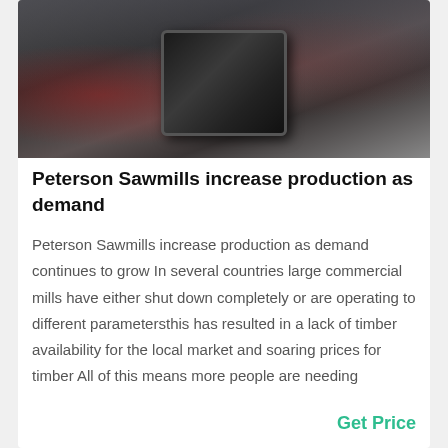[Figure (photo): Industrial sawmill machinery, large dark metal equipment on a factory floor]
Peterson Sawmills increase production as demand
Peterson Sawmills increase production as demand continues to grow In several countries large commercial mills have either shut down completely or are operating to different parametersthis has resulted in a lack of timber availability for the local market and soaring prices for timber All of this means more people are needing
Get Price